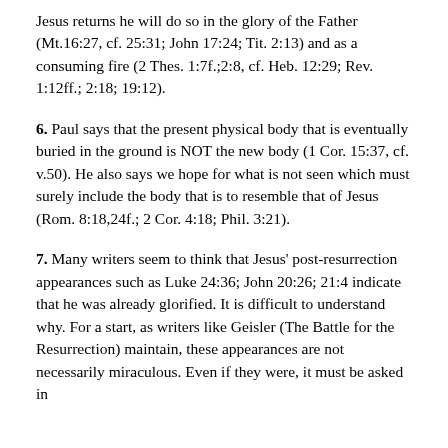Jesus returns he will do so in the glory of the Father (Mt.16:27, cf. 25:31; John 17:24; Tit. 2:13) and as a consuming fire (2 Thes. 1:7f.;2:8, cf. Heb. 12:29; Rev. 1:12ff.; 2:18; 19:12).
6. Paul says that the present physical body that is eventually buried in the ground is NOT the new body (1 Cor. 15:37, cf. v.50). He also says we hope for what is not seen which must surely include the body that is to resemble that of Jesus (Rom. 8:18,24f.; 2 Cor. 4:18; Phil. 3:21).
7. Many writers seem to think that Jesus' post-resurrection appearances such as Luke 24:36; John 20:26; 21:4 indicate that he was already glorified. It is difficult to understand why. For a start, as writers like Geisler (The Battle for the Resurrection) maintain, these appearances are not necessarily miraculous. Even if they were, it must be asked in